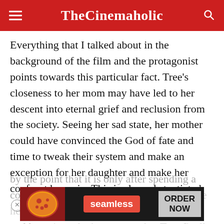TheCinemaholic
Everything that I talked about in the background of the film and the protagonist points towards this particular fact. Tree’s closeness to her mom may have led to her descent into eternal grief and reclusion from the society. Seeing her sad state, her mother could have convinced the God of fate and time to tweak their system and make an exception for her daughter and make her confront her pain. This is also substantiated
by the point that it is only after spending a consi... olf and knowing what’s to come, that Tree finally
[Figure (other): Seamless food delivery advertisement banner with pizza image, seamless logo in red, and ORDER NOW button in grey]